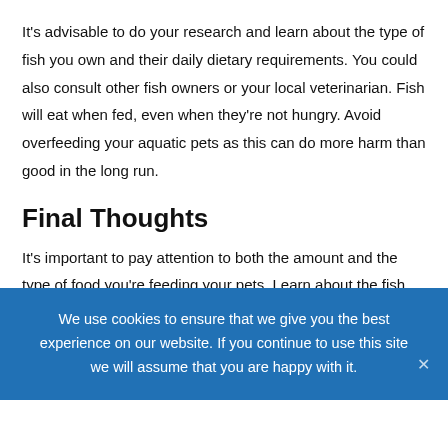It's advisable to do your research and learn about the type of fish you own and their daily dietary requirements. You could also consult other fish owners or your local veterinarian. Fish will eat when fed, even when they're not hungry. Avoid overfeeding your aquatic pets as this can do more harm than good in the long run.
Final Thoughts
It's important to pay attention to both the amount and the type of food you're feeding your pets. Learn about the fish you own and determine the most appropriate kind of nutrition for them. Some species have very specific daily requirements while others can survive on a broad range of foods.
We use cookies to ensure that we give you the best experience on our website. If you continue to use this site we will assume that you are happy with it.